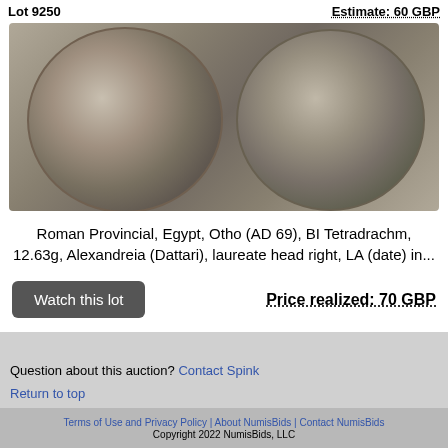Lot 9250    Estimate: 60 GBP
[Figure (photo): Two ancient Roman Provincial coins from Egypt - Otho (AD 69), BI Tetradrachm, showing laureate head right on obverse and bust on reverse]
Roman Provincial, Egypt, Otho (AD 69), BI Tetradrachm, 12.63g, Alexandreia (Dattari), laureate head right, LA (date) in...
Price realized: 70 GBP
Question about this auction? Contact Spink
Return to top
Terms of Use and Privacy Policy | About NumisBids | Contact NumisBids
Copyright 2022 NumisBids, LLC